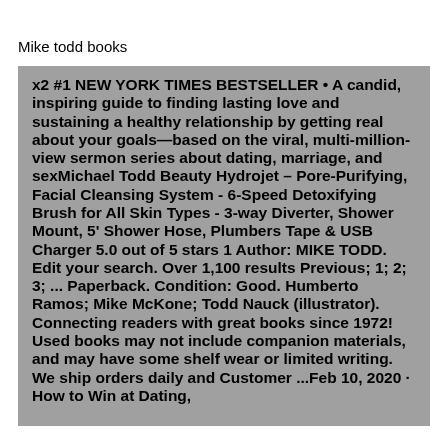Mike todd books
x2 #1 NEW YORK TIMES BESTSELLER • A candid, inspiring guide to finding lasting love and sustaining a healthy relationship by getting real about your goals—based on the viral, multi-million-view sermon series about dating, marriage, and sexMichael Todd Beauty Hydrojet – Pore-Purifying, Facial Cleansing System - 6-Speed Detoxifying Brush for All Skin Types - 3-way Diverter, Shower Mount, 5' Shower Hose, Plumbers Tape & USB Charger 5.0 out of 5 stars 1 Author: MIKE TODD. Edit your search. Over 1,100 results Previous; 1; 2; 3; ... Paperback. Condition: Good. Humberto Ramos; Mike McKone; Todd Nauck (illustrator). Connecting readers with great books since 1972! Used books may not include companion materials, and may have some shelf wear or limited writing. We ship orders daily and Customer ...Feb 10, 2020 · How to Win at Dating,